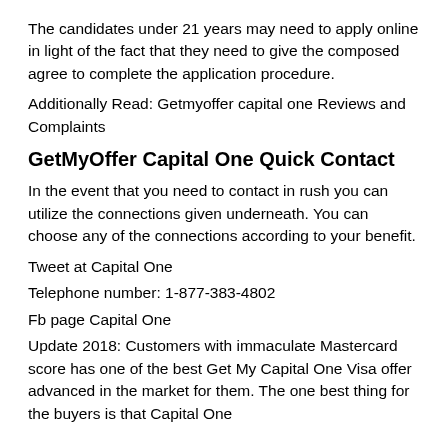The candidates under 21 years may need to apply online in light of the fact that they need to give the composed agree to complete the application procedure.
Additionally Read: Getmyoffer capital one Reviews and Complaints
GetMyOffer Capital One Quick Contact
In the event that you need to contact in rush you can utilize the connections given underneath. You can choose any of the connections according to your benefit.
Tweet at Capital One
Telephone number: 1-877-383-4802
Fb page Capital One
Update 2018: Customers with immaculate Mastercard score has one of the best Get My Capital One Visa offer advanced in the market for them. The one best thing for the buyers is that Capital One